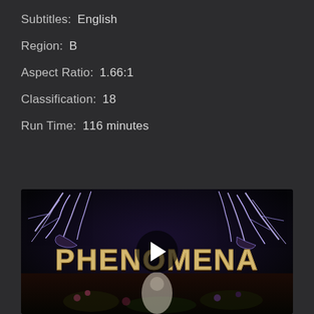Subtitles:  English
Region:  B
Aspect Ratio:  1.66:1
Classification:  18
Run Time:  116 minutes
[Figure (screenshot): Movie title card for 'PHENOMENA' showing the title in large stylized letters with lightning bolt hands on a dark background, with a play button overlay in the center.]